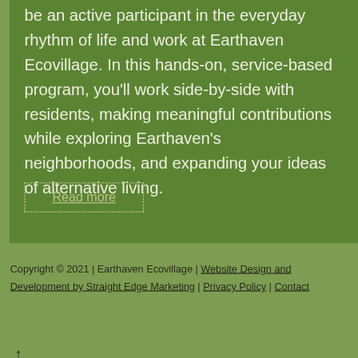be an active participant in the everyday rhythm of life and work at Earthaven Ecovillage. In this hands-on, service-based program, you'll work side-by-side with residents, making meaningful contributions while exploring Earthaven's neighborhoods, and expanding your ideas of alternative living.
Read more
Copyright © 2021 | Earthaven Ecovillage | Website Design and Development by Straight Edge Marketing | Privacy Policy | Contact